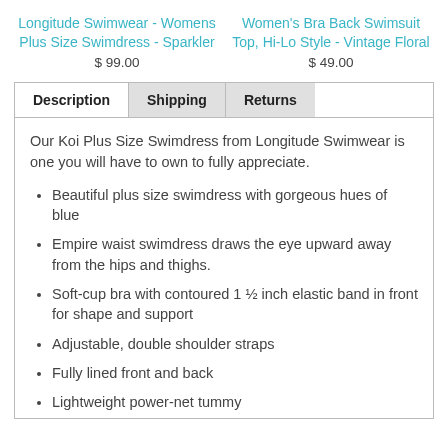Longitude Swimwear - Womens Plus Size Swimdress - Sparkler
$ 99.00
Women's Bra Back Swimsuit Top, Hi-Lo Style - Vintage Floral
$ 49.00
| Description | Shipping | Returns |
| --- | --- | --- |
Our Koi Plus Size Swimdress from Longitude Swimwear is one you will have to own to fully appreciate.
Beautiful plus size swimdress with gorgeous hues of blue
Empire waist swimdress draws the eye upward away from the hips and thighs.
Soft-cup bra with contoured 1 ½ inch elastic band in front for shape and support
Adjustable, double shoulder straps
Fully lined front and back
Lightweight power-net tummy